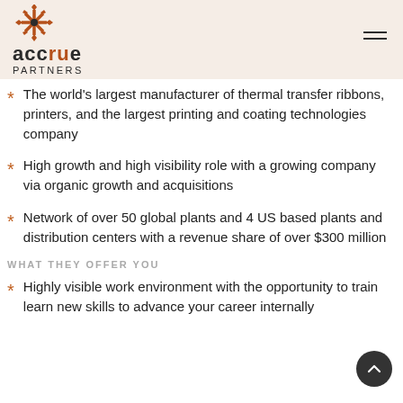[Figure (logo): Accrue Partners logo with starburst/snowflake icon in brown/orange above the text 'accrue PARTNERS']
The world's largest manufacturer of thermal transfer ribbons, printers, and the largest printing and coating technologies company
High growth and high visibility role with a growing company via organic growth and acquisitions
Network of over 50 global plants and 4 US based plants and distribution centers with a revenue share of over $300 million
WHAT THEY OFFER YOU
Highly visible work environment with the opportunity to train learn new skills to advance your career internally